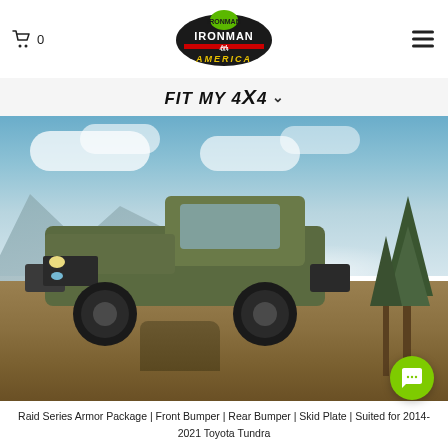Cart 0 | IRONMAN 4X4 AMERICA | Menu
FIT MY 4X4
[Figure (photo): Green Toyota Tundra truck lifted on a tree stump on a mountain overlook with misty valleys and trees in background]
Raid Series Armor Package | Front Bumper | Rear Bumper | Skid Plate | Suited for 2014-2021 Toyota Tundra